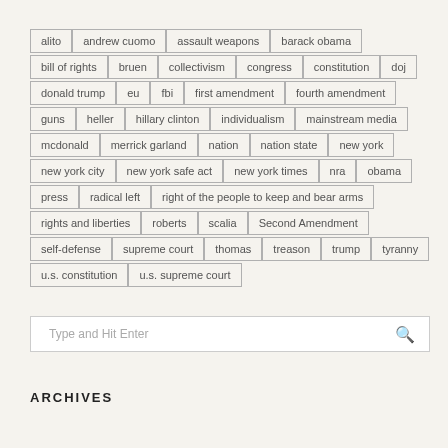alito
andrew cuomo
assault weapons
barack obama
bill of rights
bruen
collectivism
congress
constitution
doj
donald trump
eu
fbi
first amendment
fourth amendment
guns
heller
hillary clinton
individualism
mainstream media
mcdonald
merrick garland
nation
nation state
new york
new york city
new york safe act
new york times
nra
obama
press
radical left
right of the people to keep and bear arms
rights and liberties
roberts
scalia
Second Amendment
self-defense
supreme court
thomas
treason
trump
tyranny
u.s. constitution
u.s. supreme court
Type and Hit Enter
ARCHIVES